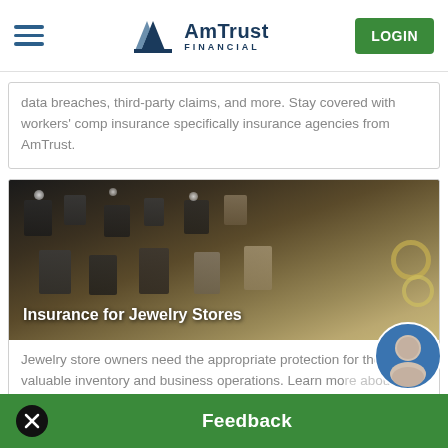AmTrust Financial — LOGIN
data breaches, third-party claims, and more. Stay covered with workers' comp insurance specifically insurance agencies from AmTrust.
[Figure (photo): Photo of a jewelry store display case with rings and other jewelry on dark stands/pillows, with the overlay text 'Insurance for Jewelry Stores']
Jewelry store owners need the appropriate protection for their valuable inventory and business operations. Learn more about customizable workers comp insurance coverage for jewelry stores from AmTrust.
Feedback